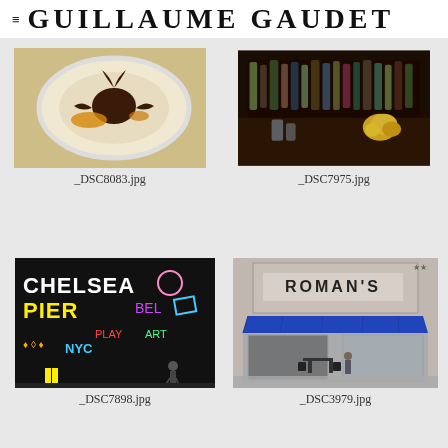GUILLAUME GAUDET
[Figure (photo): Overhead shot of a plate of food with octopus on a white plate with sauce, _DSC8083.jpg]
_DSC8083.jpg
[Figure (photo): Bar scene with bottles and yellow/green citrus fruits on the counter, _DSC7975.jpg]
_DSC7975.jpg
[Figure (photo): Colorful graffiti wall mural with text reading CHELSEA PIER and other text, _DSC7898.jpg]
_DSC7898.jpg
[Figure (photo): Exterior of Roman's restaurant storefront with blue awning and outdoor seating, _DSC3979.jpg]
_DSC3979.jpg